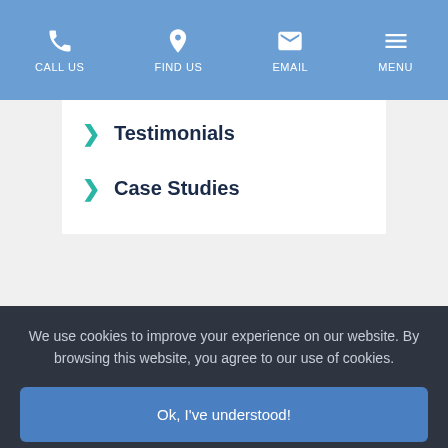CALL US | FIND US | EMAIL | MENU
Testimonials
Case Studies
We use cookies to improve your experience on our website. By browsing this website, you agree to our use of cookies.
Ok, I've understood!
More Info